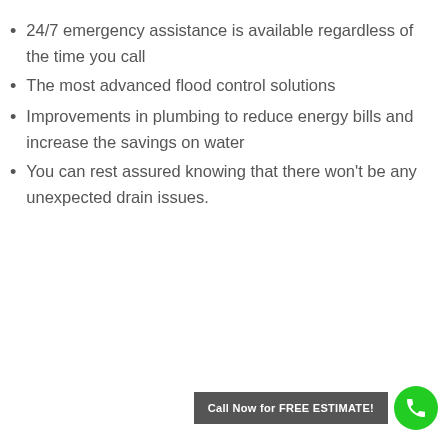24/7 emergency assistance is available regardless of the time you call
The most advanced flood control solutions
Improvements in plumbing to reduce energy bills and increase the savings on water
You can rest assured knowing that there won't be any unexpected drain issues.